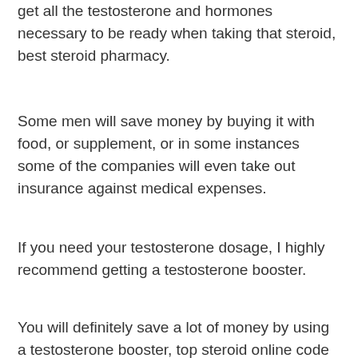get all the testosterone and hormones necessary to be ready when taking that steroid, best steroid pharmacy.
Some men will save money by buying it with food, or supplement, or in some instances some of the companies will even take out insurance against medical expenses.
If you need your testosterone dosage, I highly recommend getting a testosterone booster.
You will definitely save a lot of money by using a testosterone booster, top steroid online code promo.
Conclusion
There are a lot of things that you need to be aware of when you are researching a